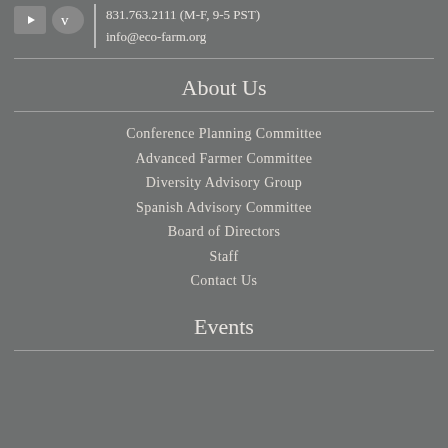831.763.2111 (M-F, 9-5 PST)
info@eco-farm.org
About Us
Conference Planning Committee
Advanced Farmer Committee
Diversity Advisory Group
Spanish Advisory Committee
Board of Directors
Staff
Contact Us
Events